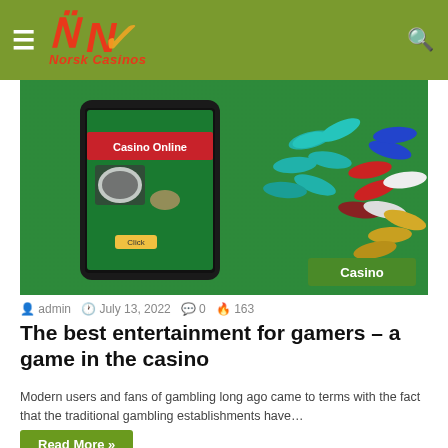Norsk Casinos
[Figure (photo): A smartphone showing 'Casino Online' on screen, surrounded by colorful casino chips on a green felt table. A green 'Casino' badge is visible in the bottom right corner of the image.]
admin  July 13, 2022  0  163
The best entertainment for gamers – a game in the casino
Modern users and fans of gambling long ago came to terms with the fact that the traditional gambling establishments have…
Read More »